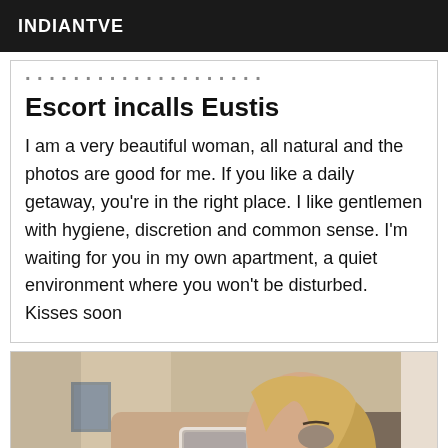INDIANTVE
Escort incalls Eustis
I am a very beautiful woman, all natural and the photos are good for me. If you like a daily getaway, you're in the right place. I like gentlemen with hygiene, discretion and common sense. I'm waiting for you in my own apartment, a quiet environment where you won't be disturbed. Kisses soon
[Figure (photo): A blonde woman taking a mirror selfie with a smartphone, wearing a black top and bracelets.]